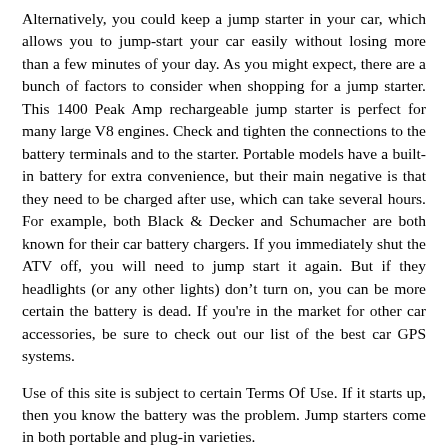Alternatively, you could keep a jump starter in your car, which allows you to jump-start your car easily without losing more than a few minutes of your day. As you might expect, there are a bunch of factors to consider when shopping for a jump starter. This 1400 Peak Amp rechargeable jump starter is perfect for many large V8 engines. Check and tighten the connections to the battery terminals and to the starter. Portable models have a built-in battery for extra convenience, but their main negative is that they need to be charged after use, which can take several hours. For example, both Black & Decker and Schumacher are both known for their car battery chargers. If you immediately shut the ATV off, you will need to jump start it again. But if they headlights (or any other lights) don't turn on, you can be more certain the battery is dead. If you're in the market for other car accessories, be sure to check out our list of the best car GPS systems.
Use of this site is subject to certain Terms Of Use. If it starts up, then you know the battery was the problem. Jump starters come in both portable and plug-in varieties.
For smaller vehicles, like most cars, a cable with at least an 8 gauge will be fine, though larger batteries might need a 6 or 4 gauge cable. Please enter search termsSearch terms must be less than 50 characters long Like many other features on this list, the